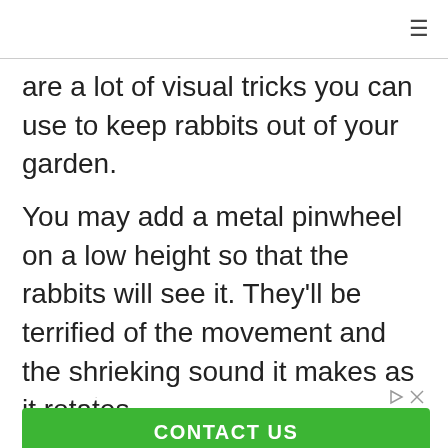≡
are a lot of visual tricks you can use to keep rabbits out of your garden.
You may add a metal pinwheel on a low height so that the rabbits will see it. They'll be terrified of the movement and the shrieking sound it makes as it rotates.
[Figure (other): Advertisement banner with green CONTACT US button and text: Get recommendations on what will be best for your urgent care practice.]